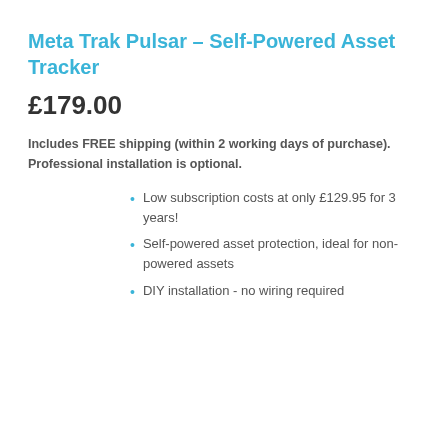Meta Trak Pulsar – Self-Powered Asset Tracker
£179.00
Includes FREE shipping (within 2 working days of purchase). Professional installation is optional.
Low subscription costs at only £129.95 for 3 years!
Self-powered asset protection, ideal for non-powered assets
DIY installation - no wiring required